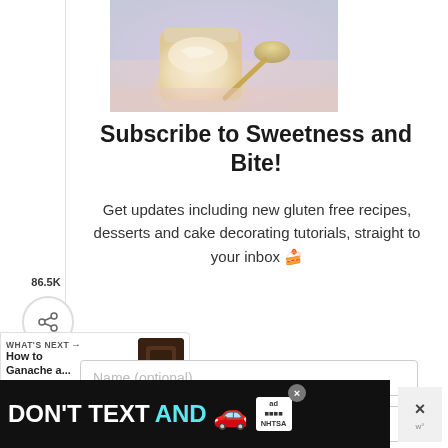[Figure (photo): Photo of a cream dessert in a glass jar with a spoon on a pink surface]
Subscribe to Sweetness and Bite!
Get updates including new gluten free recipes, desserts and cake decorating tutorials, straight to your inbox 🍰
Name (optional)
Your Email
WHAT'S NEXT → How to Ganache a...
[Figure (photo): Thumbnail of chocolate ganache tutorial]
[Figure (screenshot): DON'T TEXT AND DRIVE advertisement banner with car emoji and NHTSA logo]